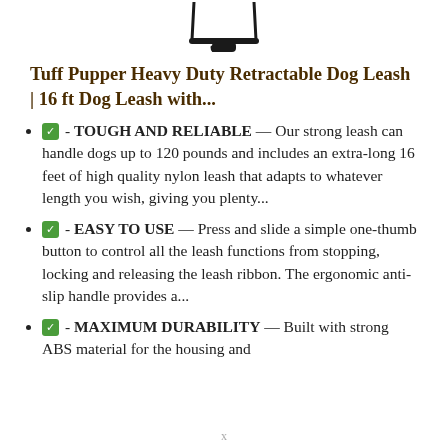[Figure (photo): Partial image of a black retractable dog leash clip/hook at the top of the page]
Tuff Pupper Heavy Duty Retractable Dog Leash | 16 ft Dog Leash with...
✅ - TOUGH AND RELIABLE — Our strong leash can handle dogs up to 120 pounds and includes an extra-long 16 feet of high quality nylon leash that adapts to whatever length you wish, giving you plenty...
✅ - EASY TO USE — Press and slide a simple one-thumb button to control all the leash functions from stopping, locking and releasing the leash ribbon. The ergonomic anti-slip handle provides a...
✅ - MAXIMUM DURABILITY — Built with strong ABS material for the housing and